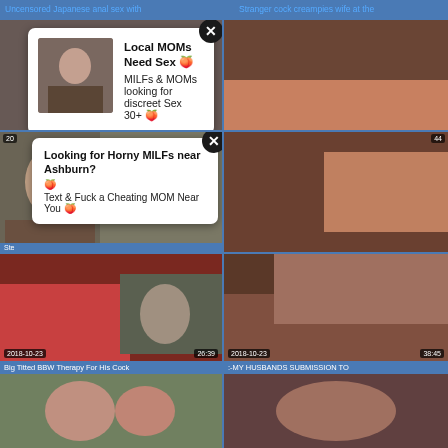Uncensored Japanese anal sex with
Stranger cock creampies wife at the
[Figure (screenshot): Video thumbnail with ad overlay: Local MOMs Need Sex. MILFs & MOMs looking for discreet Sex 30+]
[Figure (screenshot): Video thumbnail right side row 1]
[Figure (screenshot): Video thumbnail with ad overlay: Looking for Horny MILFs near Ashburn? Text & Fuck a Cheating MOM Near You]
[Figure (screenshot): Video thumbnail right side row 2, timestamp 2018-10-23, duration 44]
[Figure (screenshot): Big Titted BBW Therapy For His Cock, 2018-10-23, 26:39]
[Figure (screenshot): :-MY HUSBANDS SUBMISSION TO, 2018-10-23, 38:45]
[Figure (screenshot): Bottom left video thumbnail]
[Figure (screenshot): Bottom right video thumbnail]